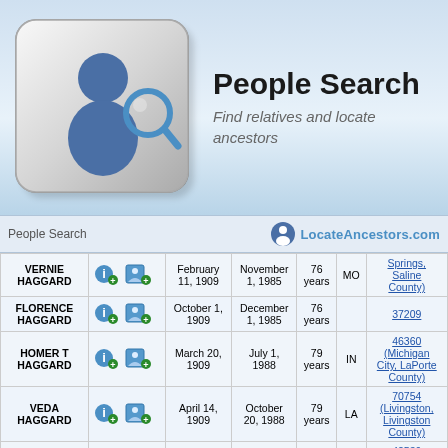People Search
Find relatives and locate ancestors
People Search
| Name |  | Born | Died | Age | State | Zip |
| --- | --- | --- | --- | --- | --- | --- |
| VERNIE HAGGARD |  | February 11, 1909 | November 1, 1985 | 76 years | MO | Springs, Saline County) |
| FLORENCE HAGGARD |  | October 1, 1909 | December 1, 1985 | 76 years |  | 37209 |
| HOMER T HAGGARD |  | March 20, 1909 | July 1, 1988 | 79 years | IN | 46360 (Michigan City, LaPorte County) |
| VEDA HAGGARD |  | April 14, 1909 | October 20, 1988 | 79 years | LA | 70754 (Livingston, Livingston County) |
| OTIS HAGGARD |  | June 16, 1909 | March 30, 1989 | 79 years | KY | 42539 (Liberty, Todd County) |
| JESSIE HAGGARD |  | October 14, 1909 | March 27, 1990 | 80 years | TN | 37166 (Smithville, DeKalb County) |
| PAUL N HAGGARD |  | November 15, 1909 | December 18, 1990 | 81 years | OK | 73117 (Oklahoma City, Oklahoma |